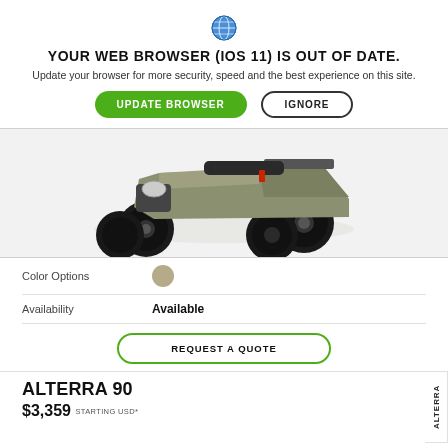[Figure (screenshot): Globe/browser icon at top of browser warning]
YOUR WEB BROWSER (IOS 11) IS OUT OF DATE.
Update your browser for more security, speed and the best experience on this site.
UPDATE BROWSER
IGNORE
[Figure (photo): ATV/quad bike (Arctic Cat Alterra) shown from front-left angle, tan/olive color body with black wheels, on white background]
Color Options
Availability  Available
REQUEST A QUOTE
ALTERRA 90
$3,359 STARTING USD*
ALTERRA